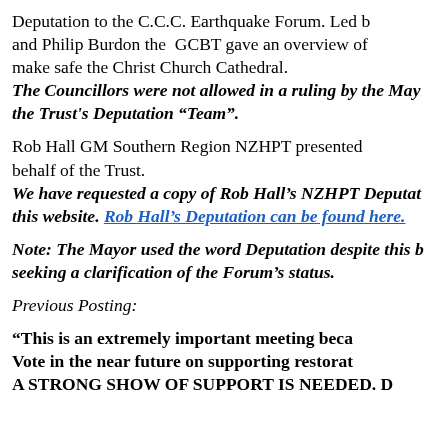Deputation to the C.C.C. Earthquake Forum. Led b and Philip Burdon the GCBT gave an overview of make safe the Christ Church Cathedral.
The Councillors were not allowed in a ruling by the May the Trust's Deputation "Team".
Rob Hall GM Southern Region NZHPT presented behalf of the Trust.
We have requested a copy of Rob Hall's NZHPT Deputat this website. Rob Hall's Deputation can be found here.
Note: The Mayor used the word Deputation despite this b seeking a clarification of the Forum's status.
Previous Posting:
"This is an extremely important meeting beca Vote in the near future on supporting restorat A STRONG SHOW OF SUPPORT IS NEEDED. D